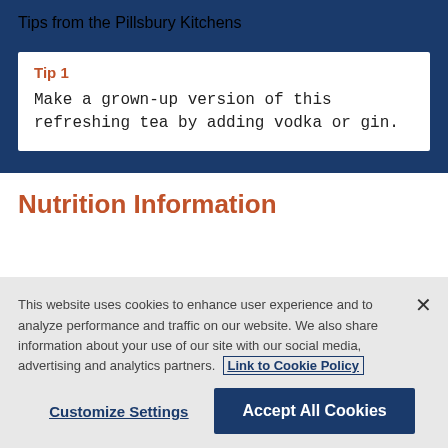Tips from the Pillsbury Kitchens
Tip 1
Make a grown-up version of this refreshing tea by adding vodka or gin.
Nutrition Information
This website uses cookies to enhance user experience and to analyze performance and traffic on our website. We also share information about your use of our site with our social media, advertising and analytics partners. Link to Cookie Policy
Customize Settings
Accept All Cookies